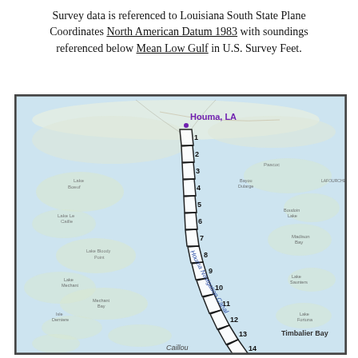Survey data is referenced to Louisiana South State Plane Coordinates North American Datum 1983 with soundings referenced below Mean Low Gulf in U.S. Survey Feet.
[Figure (map): Map showing the Houma Navigation Canal in Louisiana, with numbered survey sections 1-16 running from Houma, LA southward toward Caillou and Timbalier Bay. The canal path is marked with rectangular segments numbered sequentially. Geographic features include various lakes, bays, and wetlands typical of coastal Louisiana.]